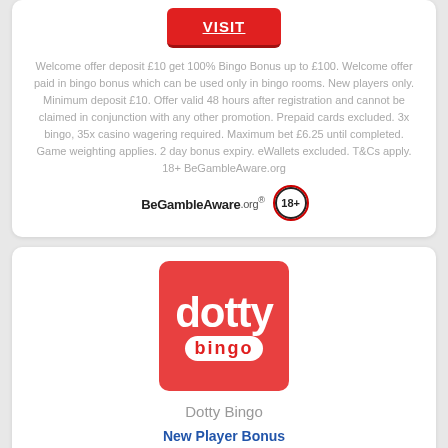[Figure (other): Red VISIT button]
Welcome offer deposit £10 get 100% Bingo Bonus up to £100. Welcome offer paid in bingo bonus which can be used only in bingo rooms. New players only. Minimum deposit £10. Offer valid 48 hours after registration and cannot be claimed in conjunction with any other promotion. Prepaid cards excluded. 3x bingo, 35x casino wagering required. Maximum bet £6.25 until completed. Game weighting applies. 2 day bonus expiry. eWallets excluded. T&Cs apply. 18+ BeGambleAware.org
[Figure (logo): BeGambleAware.org logo and 18+ badge]
[Figure (logo): Dotty Bingo logo — red square with dotty bingo text]
Dotty Bingo
New Player Bonus
500% Bonus Up To £50 + 100 Free